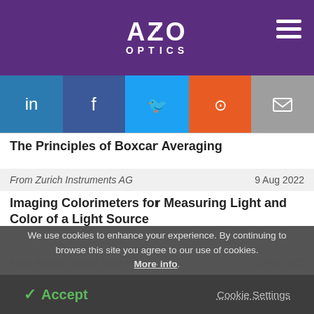AZO OPTICS
[Figure (other): Social sharing buttons: LinkedIn, Facebook, Twitter, Reddit, Email]
The Principles of Boxcar Averaging
From Zurich Instruments AG   9 Aug 2022
Imaging Colorimeters for Measuring Light and Color of a Light Source
From Radiant Vision Systems   1 Aug 2022
We use cookies to enhance your experience. By continuing to browse this site you agree to our use of cookies. More info.
✓ Accept   Cookie Settings